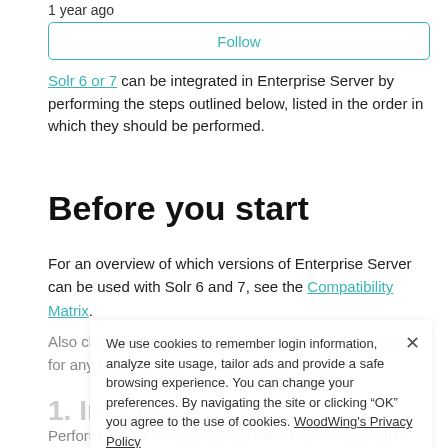1 year ago
Follow
Solr 6 or 7 can be integrated in Enterprise Server by performing the steps outlined below, listed in the order in which they should be performed.
Before you start
For an overview of which versions of Enterprise Server can be used with Solr 6 and 7, see the Compatibility Matrix.
Also closely follow the Enterprise Server Release Notes for any changes that may have been made.
1. Installing Solr
Perform the following steps by following the applicable reference guide:
We use cookies to remember login information, analyze site usage, tailor ads and provide a safe browsing experience. You can change your preferences. By navigating the site or clicking "OK" you agree to the use of cookies. WoodWing's Privacy Policy